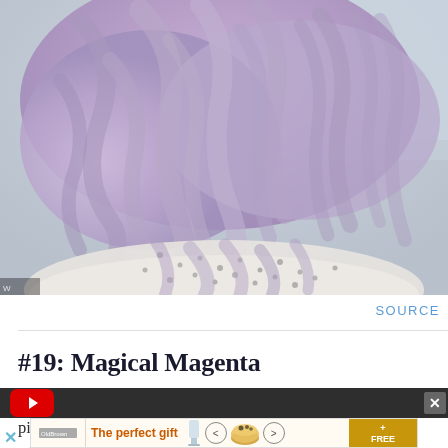[Figure (photo): Close-up photo of a person with long, wavy lavender/lilac colored hair wearing a white knit sweater with black dot pattern. The hair has soft curls and a gentle purple-lilac tone throughout.]
SOURCE
#19: Magical Magenta
Go for a truly magical look by sporting a curled-up, two-toned pixie. The vibrant lilac duo will be a fun twist on the already edgy and head-turning cut.
[Figure (screenshot): Bottom portion showing a dark YouTube-related banner and an advertisement for 'The perfect gift' with food/bowl imagery and '35% OFF + FREE SHIPPING' offer in gold.]